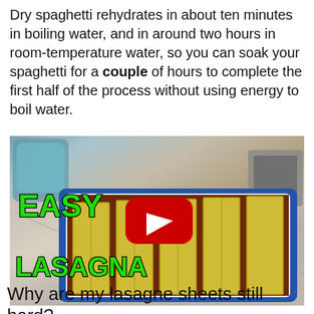Dry spaghetti rehydrates in about ten minutes in boiling water, and in around two hours in room-temperature water, so you can soak your spaghetti for a couple of hours to complete the first half of the process without using energy to boil water.
[Figure (screenshot): YouTube video thumbnail showing a baking dish with lasagna sheets laid over meat sauce on a kitchen counter, with overlaid green text reading EASY LASAGNA and a YouTube play button in the center.]
Why are my lasagne sheets still hard?